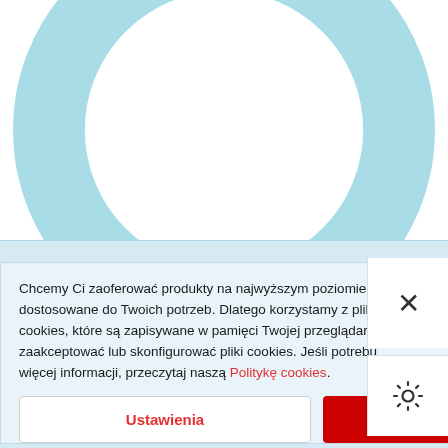[Figure (donut-chart): Partial donut/ring chart in light blue/cyan color, mostly visible in upper portion of page. The ring is thick and the center is white. Only the upper ~60% of the ring is visible, clipped at the bottom.]
Chcemy Ci zaoferować produkty na najwyższym poziomie – dostosowane do Twoich potrzeb. Dlatego korzystamy z pliki cookies, które są zapisywane w pamięci Twojej przeglądarki. zaakceptować lub skonfigurować pliki cookies. Jeśli potrebu więcej informacji, przeczytaj naszą Politykę cookies.
Ustawienia
Akceptu